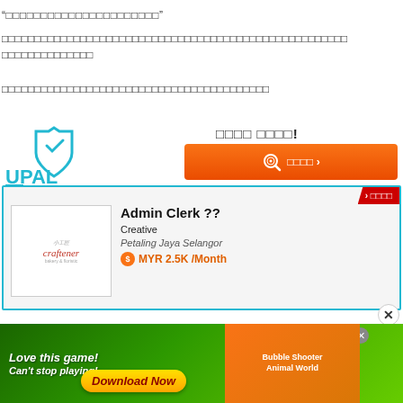“□□□□□□□□□□□□□□□□□□□□□□”
□□□□□□□□□□□□□□□□□□□□□□□□□□□□□□□□□□□□□□□□□□□□□□□□□□□□□
□□□□□□□□□□□□□□□□□□□□□□□□□□□□□□□□□□□□□□□□□
[Figure (screenshot): UPAL job portal advertisement showing logo, search button with Thai text, and a job listing for Admin Clerk at Creative company in Petaling Jaya Selangor for MYR 2.5K/Month]
[Figure (screenshot): Mobile game advertisement: 'Love this game! Can't stop playing!' with Download Now button, Bubble Shooter Animal World game imagery]